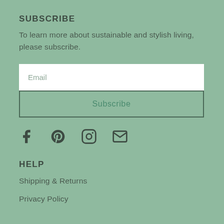SUBSCRIBE
To learn more about sustainable and stylish living, please subscribe.
[Figure (other): Email input field with placeholder text 'Email' and a Subscribe button below it]
[Figure (other): Social media icons: Facebook, Pinterest, Instagram, Email/envelope]
HELP
Shipping & Returns
Privacy Policy